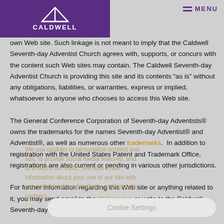Adventist Church Caldwell — Menu
own Web site. Such linkage is not meant to imply that the Caldwell Seventh-day Adventist Church agrees with, supports, or concurs with the content such Web sites may contain. The Caldwell Seventh-day Adventist Church is providing this site and its contents “as is” without any obligations, liabilities, or warranties, express or implied, whatsoever to anyone who chooses to access this Web site.
The General Conference Corporation of Seventh-day Adventists® owns the trademarks for the names Seventh-day Adventist® and Adventist®, as well as numerous other trademarks. In addition to registration with the United States Patent and Trademark Office, registrations are also current or pending in various other jurisdictions.
For further information regarding this Web site or anything related to it, you may send email to the Webmaster or write to the Caldwell Seventh-day Adventist Church.
We use cookies to personalize content and ads, to provide social media features, and to analyze our traffic. We also share information about your use of our site with our social media, advertising, and analytics partners.
Cookie Settings